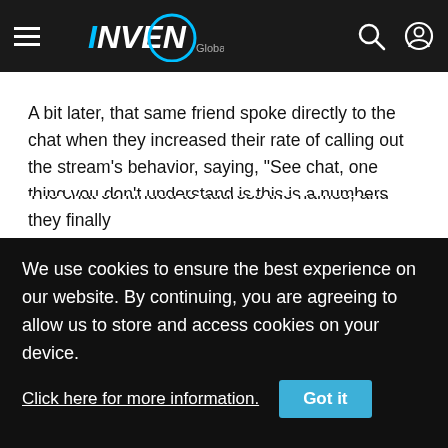INVEN Global
A bit later, that same friend spoke directly to the chat when they increased their rate of calling out the stream's behavior, saying, "See chat, one thing you don't understand is this is a numbers game and you guys are just helping us with the numbers." This implies their call-outs against the offensive names used in the game were actually benefiting the US Navy and their stream.
The chat continued to address the names, and they finally
We use cookies to ensure the best experience on our website. By continuing, you are agreeing to allow us to store and access cookies on your device.
Click here for more information.